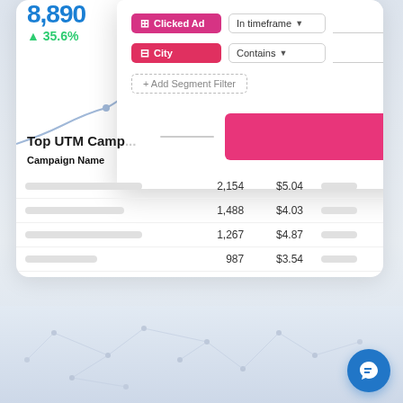8,890
▲ 35.6%
[Figure (screenshot): Filter modal overlay with 'Clicked Ad' In timeframe and 'City' Contains filter rows, Add Segment Filter button, and a red Apply button]
Top UTM Camp...
| Campaign Name |  | $ |
| --- | --- | --- |
|  | 2,154 | $5.04 |
|  | 1,488 | $4.03 |
|  | 1,267 | $4.87 |
|  | 987 | $3.54 |
|  | 562 | $1.02 |
[Figure (screenshot): Bottom area with light blue network graph background and a blue circular chat button with speech bubble icon]